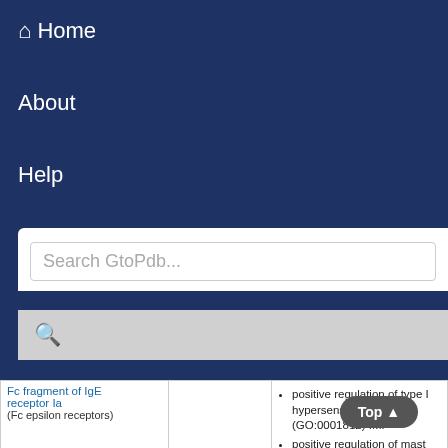Home
About
Help
Search GtoPdb...
|  |  |  |
| --- | --- | --- |
| Fc fragment of IgE receptor Ia (Fc epsilon receptors) |  | positive regulation of type I hypersensitivity (GO:0001812) IMP
positive regulation of mast cell degranulation (GO:0043306) IDA |
|  |  | stimulatory C-type lectin receptor signaling pathway (GO:0002223) TAS
neutrophil activation involved in immune response (GO:0002283) IBA
T cell differentiation involved in immune response (GO:0002292) IBA |